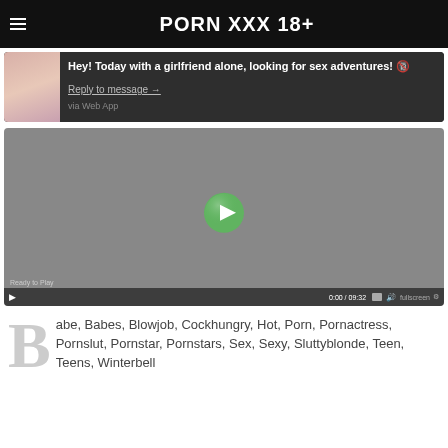PORN XXX 18+
Hey! Today with a girlfriend alone, looking for sex adventures! 🔞
Reply to message →
via Web App
[Figure (screenshot): Video player showing a grey placeholder screen with a green play button in the center. Bottom bar shows ready to play status, time 0:00 / 09:32, and controls.]
Babe, Babes, Blowjob, Cockhungry, Hot, Porn, Pornactress, Pornslut, Pornstar, Pornstars, Sex, Sexy, Sluttyblonde, Teen, Teens, Winterbell